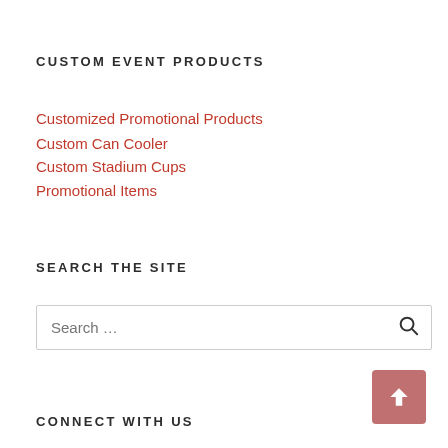CUSTOM EVENT PRODUCTS
Customized Promotional Products
Custom Can Cooler
Custom Stadium Cups
Promotional Items
SEARCH THE SITE
Search …
CONNECT WITH US
[Figure (logo): Twitter bird icon in red/dark red]